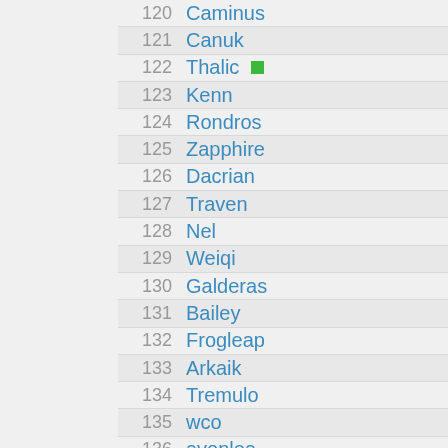120 Caminus
121 Canuk
122 Thalic
123 Kenn
124 Rondros
125 Zapphire
126 Dacrian
127 Traven
128 Nel
129 Weiqi
130 Galderas
131 Bailey
132 Frogleap
133 Arkaik
134 Tremulo
135 wco
136 avonlea
137 Aiden
138 Deranio